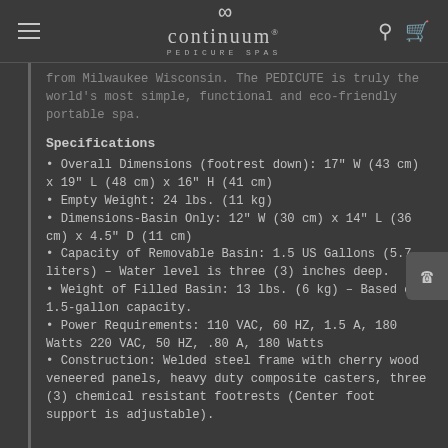continuum PEDICURE SPAS
from Milwaukee Wisconsin. The PEDICUTE is truly the world's most simple, functional and eco-friendly portable spa.
Specifications
Overall Dimensions (footrest down): 17" W (43 cm) x 19" L (48 cm) x 16" H (41 cm)
Empty Weight: 24 lbs. (11 kg)
Dimensions-Basin Only: 12" W (30 cm) x 14" L (36 cm) x 4.5" D (11 cm)
Capacity of Removable Basin: 1.5 US Gallons (5.7 liters) – Water level is three (3) inches deep.
Weight of Filled Basin: 13 lbs. (6 kg) – Based on 1.5-gallon capacity.
Power Requirements: 110 VAC, 60 HZ, 1.5 A, 180 Watts 220 VAC, 50 HZ, .80 A, 180 Watts
Construction: Welded steel frame with cherry wood veneered panels, heavy duty composite casters, three (3) chemical resistant footrests (Center foot support is adjustable).